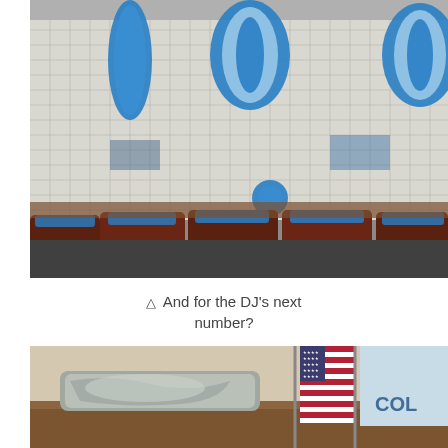[Figure (photo): Indoor scene showing a row of dark wooden chairs with blue decorations on the seat backs. In the background, a metal grid/net fence with large blue metallic balloon numbers (100) hanging from above. Blue pompoms or balloon decorations are visible on some chairs.]
▵ And for the DJ's next number?
[Figure (photo): Interior room scene showing an ornate silver/metallic decorative piece (possibly a gavel block or architectural element) on a wooden surface. Behind it are two flags: an American flag and what appears to be a blue and white organizational flag with partial text 'COL' visible.]